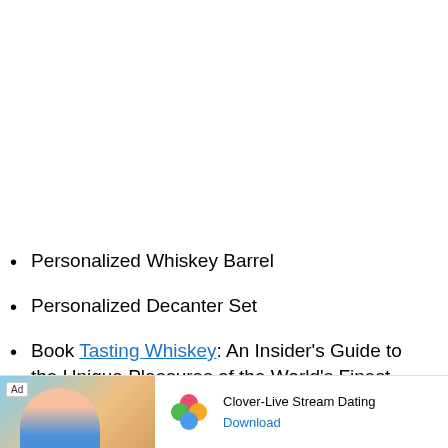Personalized Whiskey Barrel
Personalized Decanter Set
Book Tasting Whiskey: An Insider's Guide to the Unique Pleasures of the World's Finest Spirits
Funny Retired Whiskey Glass: "Retired. Not My Problem Anymore"
Funny ... ome Wh...
[Figure (screenshot): Advertisement banner at bottom: Clover-Live Stream Dating app ad with beach photo, Ad badge, Clover clover-leaf icon, and Download button]